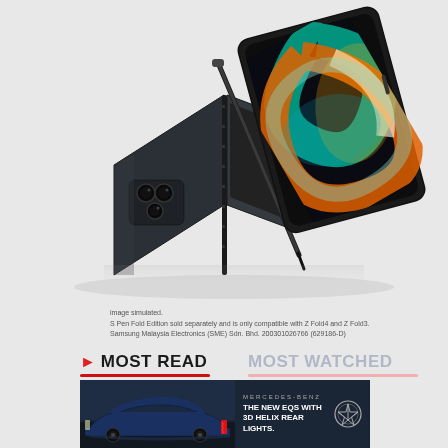[Figure (photo): Samsung Galaxy Z Fold4 smartphone shown folded as a tent with camera module visible, S Pen stylus leaning against it, and the device displayed flat showing colorful abstract screen with orange/teal/white swirls on dark background]
image simulated.
S Pen Fold Edition sold separately and is only compatible with Z Fold4 and Z Fold3.
Samsung Malaysia Electronics (SME) Sdn. Bhd. 200301026766 (629186-D)
MOST READ
MOST WATCHED
[Figure (photo): Mercedes-Benz EQS sedan advertisement showing a dark blue luxury car from rear three-quarter view with glowing red taillights. Text reads: MERCEDES-BENZ / THE NEW EQS WITH / 3D HELIX REAR LIGHTS. Mercedes-Benz three-pointed star logo on right.]